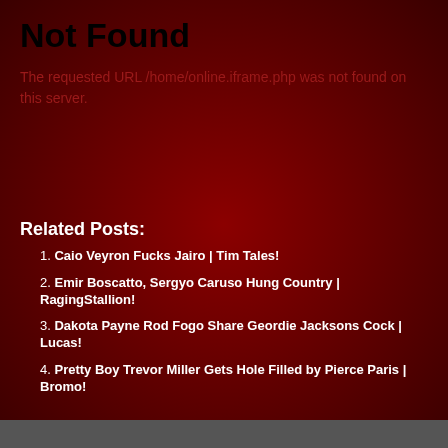Not Found
The requested URL /home/online.iframe.php was not found on this server.
Related Posts:
Caio Veyron Fucks Jairo | Tim Tales!
Emir Boscatto, Sergyo Caruso Hung Country | RagingStallion!
Dakota Payne Rod Fogo Share Geordie Jacksons Cock | Lucas!
Pretty Boy Trevor Miller Gets Hole Filled by Pierce Paris | Bromo!